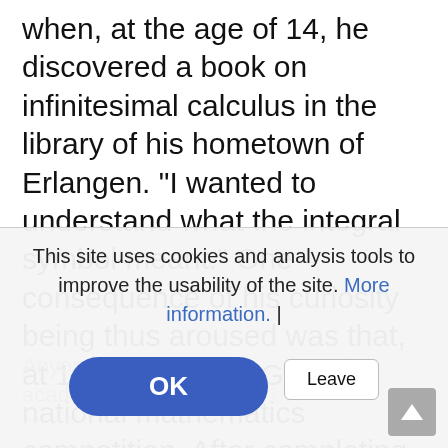when, at the age of 14, he discovered a book on infinitesimal calculus in the library of his hometown of Erlangen. "I wanted to understand what the integral symbol meant." One consequence of his curiosity being thus aroused was that, at 18, he won the German national mathematics competition. After completing his civilian service he studied logic and the philosophy of science in Munich. For his PhD, however, he turned once again to mathematics and became a doctoral candidate at the University of Bonn. "I'm really a lateral entrant,"
This site uses cookies and analysis tools to improve the usability of the site. More information. |
Anyone wanting to set out on a career in the academic world needs to be willing to change